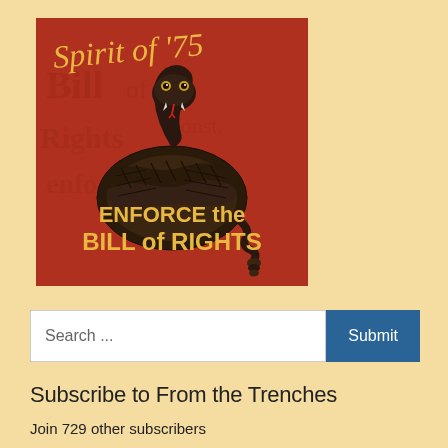[Figure (illustration): Red background image with a coiled rattlesnake illustration and text reading 'Spirit of '75' in cursive at the top, and 'ENFORCE the BILL of RIGHTS' in bold yellow text at the bottom.]
Search ...
Submit
Subscribe to From the Trenches
Join 729 other subscribers